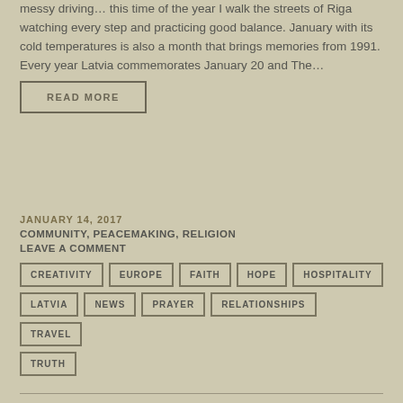messy driving… this time of the year I walk the streets of Riga watching every step and practicing good balance. January with its cold temperatures is also a month that brings memories from 1991. Every year Latvia commemorates January 20 and The…
READ MORE
JANUARY 14, 2017
COMMUNITY, PEACEMAKING, RELIGION
LEAVE A COMMENT
CREATIVITY
EUROPE
FAITH
HOPE
HOSPITALITY
LATVIA
NEWS
PRAYER
RELATIONSHIPS
TRAVEL
TRUTH